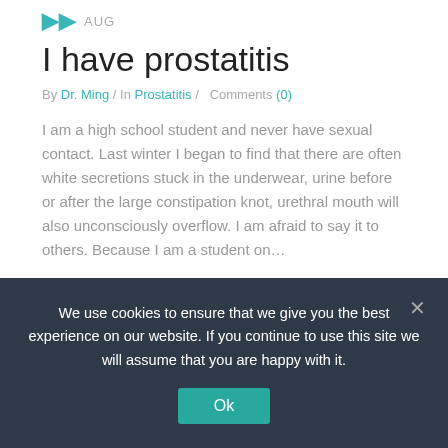AUG
I have prostatitis
By Dr. Ming / In Prostatitis /   Comments (0)
I am a high school student and never have sexual contact. Last winter I began to find that there are often white secretions stuck in the underwear, urine before or after the large constipation knot, urethral mouth will also unconsciously overflow. I am afraid to say it to others. Because I am a student on…
Read More
We use cookies to ensure that we give you the best experience on our website. If you continue to use this site we will assume that you are happy with it.